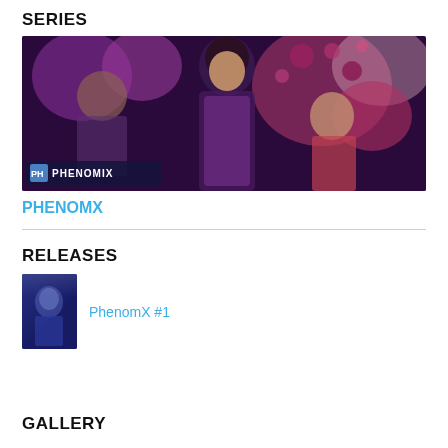SERIES
[Figure (illustration): Comic book banner image showing superhero characters in purple and dark costumes with the PHENOMIX logo in the lower left corner]
PHENOMX
RELEASES
[Figure (illustration): Small thumbnail cover image of PhenomX #1 comic book]
PhenomX #1
GALLERY